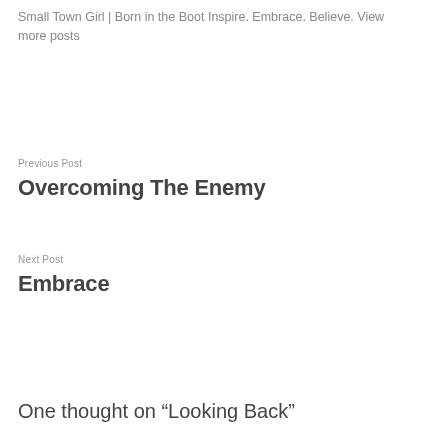Small Town Girl | Born in the Boot Inspire. Embrace. Believe. View more posts
Previous Post
Overcoming The Enemy
Next Post
Embrace
One thought on “Looking Back”